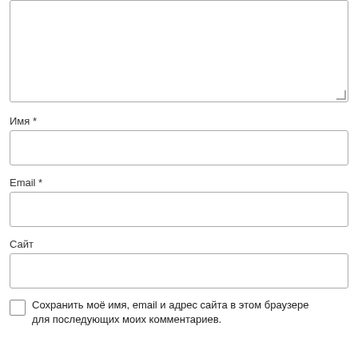[Figure (screenshot): A textarea input field (web form comment box), partially visible at top, with a resize handle at bottom-right corner.]
Имя *
[Figure (screenshot): A text input field for 'Имя' (Name), required field, empty.]
Email *
[Figure (screenshot): A text input field for 'Email', required field, empty.]
Сайт
[Figure (screenshot): A text input field for 'Сайт' (Site/URL), empty.]
Сохранить моё имя, email и адрес сайта в этом браузере для последующих моих комментариев.